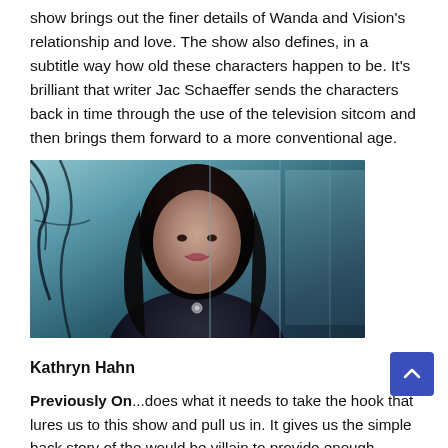show brings out the finer details of Wanda and Vision's relationship and love. The show also defines, in a subtitle way how old these characters happen to be. It's brilliant that writer Jac Schaeffer sends the characters back in time through the use of the television sitcom and then brings them forward to a more conventional age.
[Figure (photo): A woman with long dark hair wearing a dark outfit, smiling slightly, photographed indoors with a blurred background featuring what appears to be glass and branches. This is Kathryn Hahn from WandaVision.]
Kathryn Hahn
Previously On...does what it needs to take the hook that lures us to this show and pull us in. It gives us the simple back story of the would be villain to provide enough information to justify that this